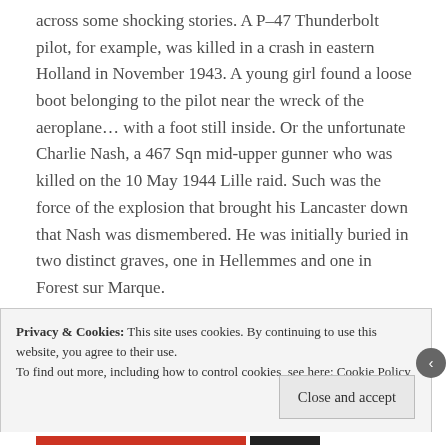across some shocking stories. A P-47 Thunderbolt pilot, for example, was killed in a crash in eastern Holland in November 1943. A young girl found a loose boot belonging to the pilot near the wreck of the aeroplane... with a foot still inside. Or the unfortunate Charlie Nash, a 467 Sqn mid-upper gunner who was killed on the 10 May 1944 Lille raid. Such was the force of the explosion that brought his Lancaster down that Nash was dismembered. He was initially buried in two distinct graves, one in Hellemmes and one in Forest sur Marque.
Privacy & Cookies: This site uses cookies. By continuing to use this website, you agree to their use.
To find out more, including how to control cookies, see here: Cookie Policy